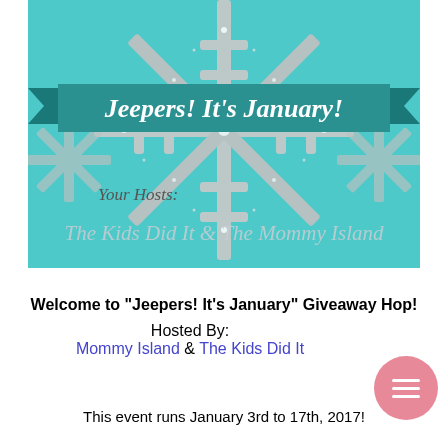[Figure (illustration): Promotional banner image with teal/aqua background, large silver glitter snowflake, teal ribbon banner reading 'Jeepers! It's January!', and text below reading 'Your Hosts: The Kids Did It & The Mommy Island']
Welcome to "Jeepers! It's January" Giveaway Hop!
Hosted By:
Mommy Island & The Kids Did It
This event runs January 3rd to 17th, 2017!